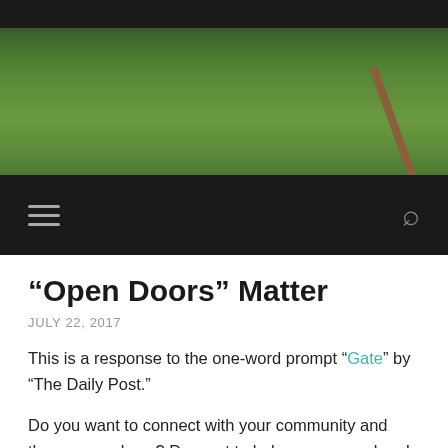[Figure (photo): Header photo showing green grass/garden scene with dark top bar and a stick/post in the lower right]
Navigation bar with hamburger menu icon and search icon
“Open Doors” Matter
JULY 22, 2017
This is a response to the one-word prompt “Gate” by “The Daily Post.”
Do you want to connect with your community and those around you? Do want to help grow your church, business, and/or organization you are a part of? Then